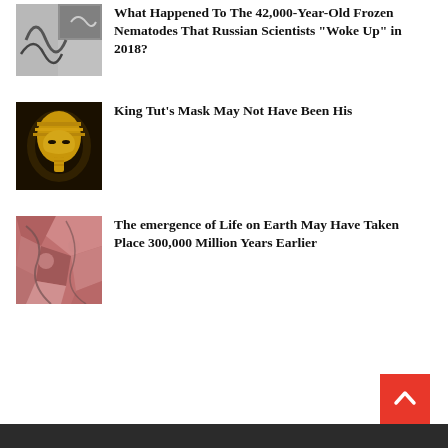[Figure (photo): Microscope image of frozen nematodes (worms), grayscale electron microscopy]
What Happened To The 42,000-Year-Old Frozen Nematodes That Russian Scientists "Woke Up" in 2018?
[Figure (photo): Photo of King Tutankhamun's golden burial mask against dark background]
King Tut's Mask May Not Have Been His
[Figure (photo): Photo of reddish-pink ancient rock or fossil, possibly early life fossil on Earth]
The emergence of Life on Earth May Have Taken Place 300,000 Million Years Earlier